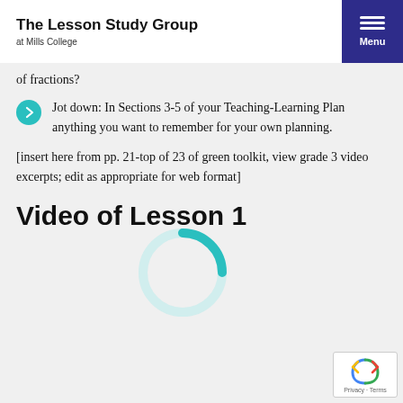The Lesson Study Group
at Mills College
of fractions?
Jot down: In Sections 3-5 of your Teaching-Learning Plan anything you want to remember for your own planning.
[insert here from pp. 21-top of 23 of green toolkit, view grade 3 video excerpts; edit as appropriate for web format]
Video of Lesson 1